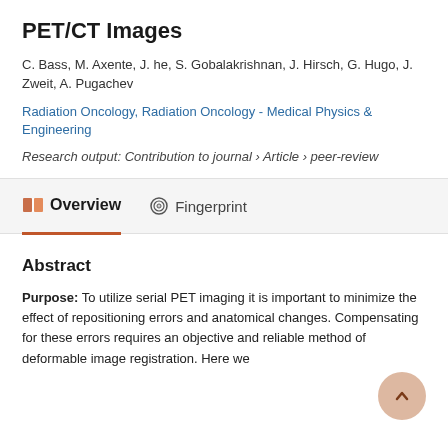PET/CT Images
C. Bass, M. Axente, J. he, S. Gobalakrishnan, J. Hirsch, G. Hugo, J. Zweit, A. Pugachev
Radiation Oncology, Radiation Oncology - Medical Physics & Engineering
Research output: Contribution to journal › Article › peer-review
Overview
Fingerprint
Abstract
Purpose: To utilize serial PET imaging it is important to minimize the effect of repositioning errors and anatomical changes. Compensating for these errors requires an objective and reliable method of deformable image registration. Here we